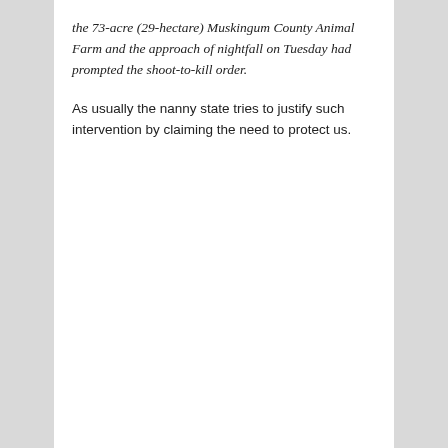the 73-acre (29-hectare) Muskingum County Animal Farm and the approach of nightfall on Tuesday had prompted the shoot-to-kill order.
As usually the nanny state tries to justify such intervention by claiming the need to protect us.